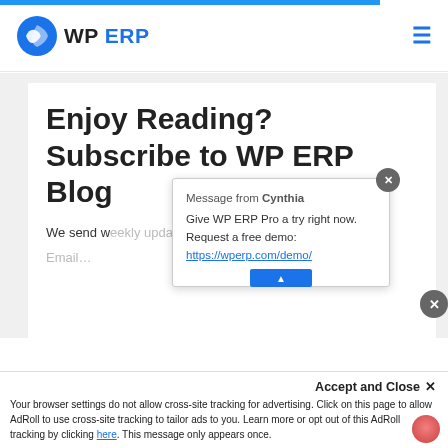[Figure (logo): WP ERP logo with blue circular icon and text 'WP ERP']
Enjoy Reading? Subscribe to WP ERP Blog
We send we... guaranteed...
Message from Cynthia
Give WP ERP Pro a try right now. Request a free demo: https://wperp.com/demo/
Email...
Accept and Close ✕
Your browser settings do not allow cross-site tracking for advertising. Click on this page to allow AdRoll to use cross-site tracking to tailor ads to you. Learn more or opt out of this AdRoll tracking by clicking here. This message only appears once.